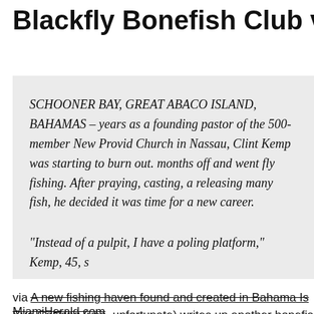Blackfly Bonefish Club via the Mia
SCHOONER BAY, GREAT ABACO ISLAND, BAHAMAS – years as a founding pastor of the 500-member New Providence Church in Nassau, Clint Kemp was starting to burn out. months off and went fly fishing. After praying, casting, and releasing many fish, he decided it was time for a new career.
"Instead of a pulpit, I have a poling platform," Kemp, 45, s
via A new fishing haven found and created in Bahama Is MiamiHerald.com.
Sue Cocking (yes, unfortunate) writes up another bonefishing